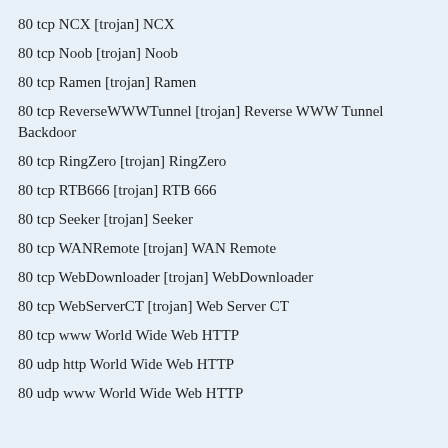80 tcp NCX [trojan] NCX
80 tcp Noob [trojan] Noob
80 tcp Ramen [trojan] Ramen
80 tcp ReverseWWWTunnel [trojan] Reverse WWW Tunnel Backdoor
80 tcp RingZero [trojan] RingZero
80 tcp RTB666 [trojan] RTB 666
80 tcp Seeker [trojan] Seeker
80 tcp WANRemote [trojan] WAN Remote
80 tcp WebDownloader [trojan] WebDownloader
80 tcp WebServerCT [trojan] Web Server CT
80 tcp www World Wide Web HTTP
80 udp http World Wide Web HTTP
80 udp www World Wide Web HTTP